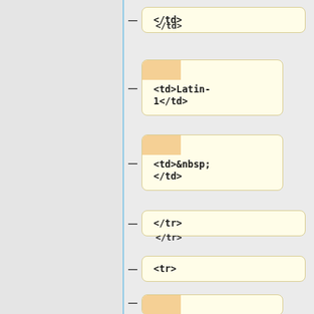[Figure (screenshot): Code/XML tree viewer showing HTML table element nodes. Each node is shown in a rounded card with beige/tan background. Nodes shown (top to bottom): </td>, <td>Latin-1</td>, <td>&nbsp;</td>, </tr>, <tr>, <td>DisplayLevel</td>, <td>&lt;integer&gt;</td>, <td>1</td>, and a partial card at the bottom.]